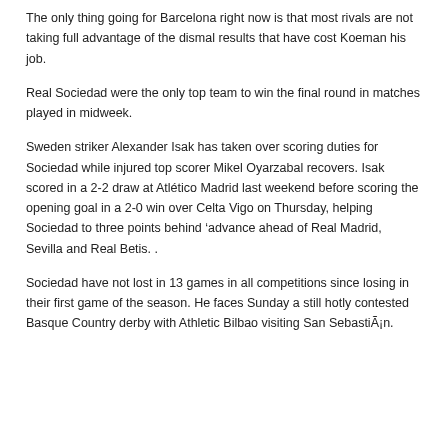The only thing going for Barcelona right now is that most rivals are not taking full advantage of the dismal results that have cost Koeman his job.
Real Sociedad were the only top team to win the final round in matches played in midweek.
Sweden striker Alexander Isak has taken over scoring duties for Sociedad while injured top scorer Mikel Oyarzabal recovers. Isak scored in a 2-2 draw at Atlético Madrid last weekend before scoring the opening goal in a 2-0 win over Celta Vigo on Thursday, helping Sociedad to three points behind 'advance ahead of Real Madrid, Sevilla and Real Betis. .
Sociedad have not lost in 13 games in all competitions since losing in their first game of the season. He faces Sunday a still hotly contested Basque Country derby with Athletic Bilbao visiting San Sebastián.